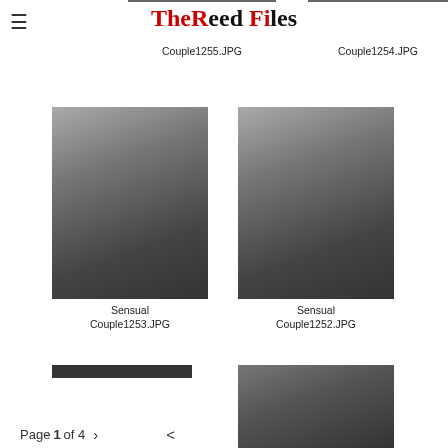The Reed Files
[Figure (photo): Partially cropped photo - Sensual Couple1255]
Sensual Couple1255.JPG
[Figure (photo): Partially cropped photo - Sensual Couple1254]
Sensual Couple1254.JPG
[Figure (photo): Photo of couple embracing - Sensual Couple1253]
Sensual Couple1253.JPG
[Figure (photo): Photo of couple embracing - Sensual Couple1252]
Sensual Couple1252.JPG
[Figure (photo): Partially visible photo at bottom - next couple image]
Page 1 of 4